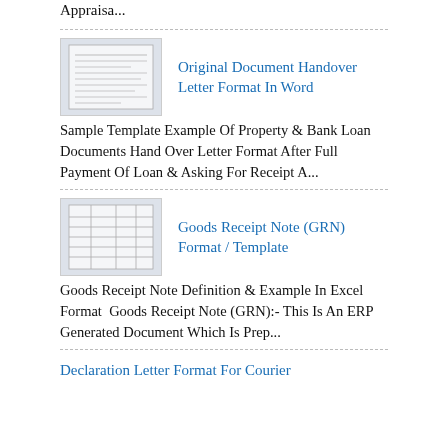Appraisa...
Original Document Handover Letter Format In Word
Sample Template Example Of Property & Bank Loan Documents Hand Over Letter Format After Full Payment Of Loan & Asking For Receipt A...
Goods Receipt Note (GRN) Format / Template
Goods Receipt Note Definition & Example In Excel Format  Goods Receipt Note (GRN):- This Is An ERP Generated Document Which Is Prep...
Declaration Letter Format For Courier